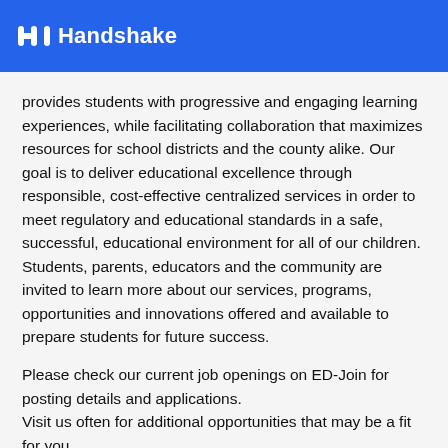Handshake
provides students with progressive and engaging learning experiences, while facilitating collaboration that maximizes resources for school districts and the county alike. Our goal is to deliver educational excellence through responsible, cost-effective centralized services in order to meet regulatory and educational standards in a safe, successful, educational environment for all of our children. Students, parents, educators and the community are invited to learn more about our services, programs, opportunities and innovations offered and available to prepare students for future success.
Please check our current job openings on ED-Join for posting details and applications.
Visit us often for additional opportunities that may be a fit for you.
The County Board of Education and Superintendent are committed to provide El Dorado County Office of